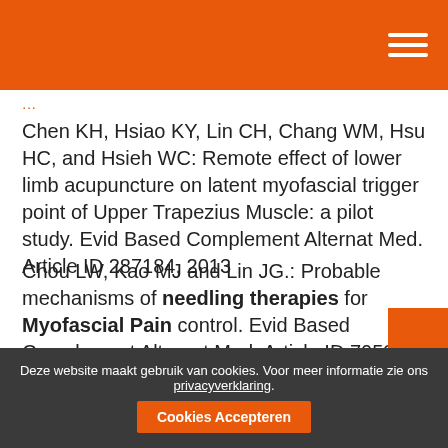Chen KH, Hsiao KY, Lin CH, Chang WM, Hsu HC, and Hsieh WC: Remote effect of lower limb acupuncture on latent myofascial trigger point of Upper Trapezius Muscle: a pilot study. Evid Based Complement Alternat Med. Article ID 287184, 2013
Chou LW, Kao MJ and Lin JG.: Probable mechanisms of needling therapies for Myofascial Pain control. Evid Based Complement Alternat Med. Article ID 705327, 2012
Corey SM¹, Vizzard MA, Bouffard NA, Badger GJ, Langevin HM.; Stretching of the back improves gait, mechanical sensitivity and Connective Tissue Inflammation in a rodent model...
Deze website maakt gebruik van cookies. Voor meer informatie zie ons privacyverklaring. Cookies Accepteren